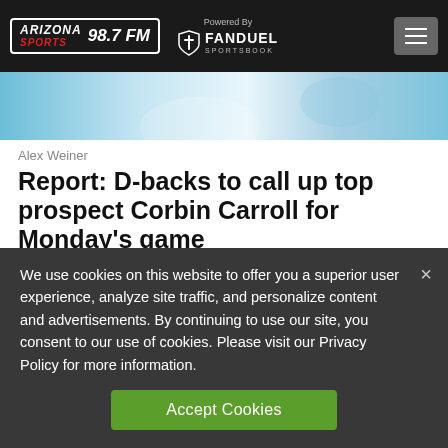ARIZONA SPORTS 98.7 FM | Powered By FANDUEL SPORTSBOOK
[Figure (photo): Partial hero image of a sports-related scene with light blue background]
Alex Weiner
Report: D-backs to call up top prospect Corbin Carroll for Monday's game
1 day ago
We use cookies on this website to offer you a superior user experience, analyze site traffic, and personalize content and advertisements. By continuing to use our site, you consent to our use of cookies. Please visit our Privacy Policy for more information.
Accept Cookies